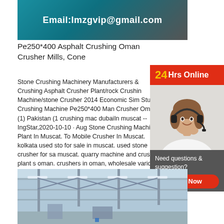[Figure (photo): Factory/industrial image with email overlay: Email:lmzgvip@gmail.com]
Pe250*400 Asphalt Crushing Oman Crusher Mills, Cone
[Figure (infographic): 24Hrs Online banner with customer service agent photo, Need questions & suggestion? Chat Now button]
Stone Crushing Machinery Manufacturers & Crushing Asphalt Crusher Plant/rock Crushing Machine/stone Crusher 2014 Economic Sim Stucture Crushing Machine Pe250*400 Man Crusher Oman (1) Pakistan (1 crushing mac dubaiIn muscat -- IngStar,2020-10-10 · Aug Stone Crushing Machine Plant In Muscat. To Mobile Crusher In Muscat. kolkata used sto for sale in muscat. used stone crusher for sa muscat. quarry machine and crusher plant s oman. crushers in oman, wholesale various a high efficiency and good performance crushers in oman. ad. factory price pe 400x600 150x250
[Figure (photo): Industrial warehouse/factory interior with ceiling structure and lights]